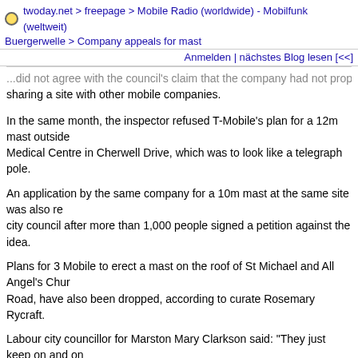twoday.net > freepage > Mobile Radio (worldwide) - Mobilfunk (weltweit) Buergerwelle > Company appeals for mast
Anmelden | nächstes Blog lesen [<<]
...did not agree with the council's claim that the company had not properly sharing a site with other mobile companies.
In the same month, the inspector refused T-Mobile's plan for a 12m mast outside Medical Centre in Cherwell Drive, which was to look like a telegraph pole.
An application by the same company for a 10m mast at the same site was also re city council after more than 1,000 people signed a petition against the idea.
Plans for 3 Mobile to erect a mast on the roof of St Michael and All Angel's Chur Road, have also been dropped, according to curate Rosemary Rycraft.
Labour city councillor for Marston Mary Clarkson said: "They just keep on and on annoying because they don't seem to be following the code of practice.
"What I'd like to see them do is going away to talk to other operators and try to fi share."
She was optimistic that the planning inspectorate would uphold the council's late She said: "We have got several grounds for refusing and I am hoping that the vis will stand up.
"The mast design looks quite silly and is quite obviously not a tree."